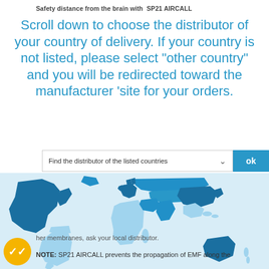Safety distance from the brain with SP21 AIRCALL
Scroll down to choose the distributor of your country of delivery. If your country is not listed, please select "other country" and you will be redirected toward the manufacturer 'site for your orders.
[Figure (screenshot): A dropdown selector reading 'Find the distributor of the listed countries' with a chevron and an 'ok' blue button, overlaid on a world map showing countries in blue shades indicating distributor coverage.]
her membranes, ask your local distributor.
NOTE: SP21 AIRCALL prevents the propagation of EMF along the